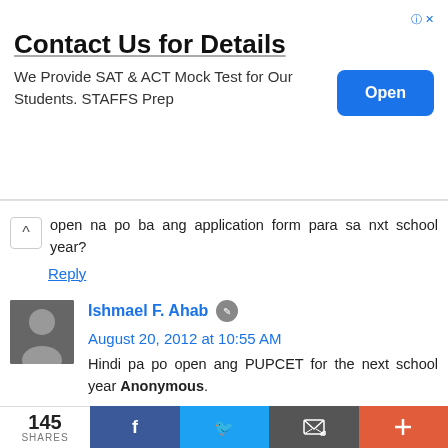[Figure (screenshot): Advertisement banner: 'Contact Us for Details' with text 'We Provide SAT & ACT Mock Test for Our Students. STAFFS Prep' and a blue 'Open' button]
open na po ba ang application form para sa nxt school year?
Reply
Ishmael F. Ahab  August 20, 2012 at 10:55 AM
Hindi pa po open ang PUPCET for the next school year Anonymous.
Pakitingnan na lang itong website ng PUP iApply para sa announcements.
Heto po ang website link: http://www.pup.edu.ph/iApply/
Reply
145 SHARES